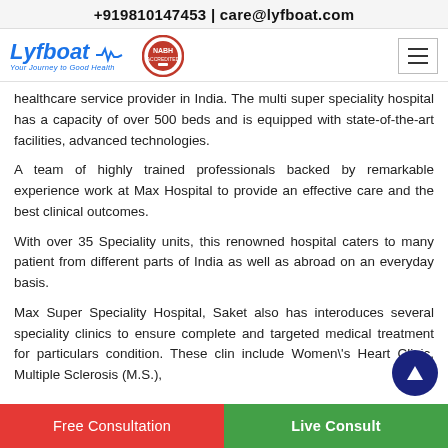+919810147453 | care@lyfboat.com
[Figure (logo): Lyfboat logo with tagline 'Your Journey to Good Health', a quality certification badge, and hamburger menu icon]
healthcare service provider in India. The multi super speciality hospital has a capacity of over 500 beds and is equipped with state-of-the-art facilities, advanced technologies.
A team of highly trained professionals backed by remarkable experience work at Max Hospital to provide an effective care and the best clinical outcomes.
With over 35 Speciality units, this renowned hospital caters to many patient from different parts of India as well as abroad on an everyday basis.
Max Super Speciality Hospital, Saket also has interoduces several speciality clinics to ensure complete and targeted medical treatment for particulars condition. These clinics include Women\'s Heart Clinic, Multiple Sclerosis (M.S.),